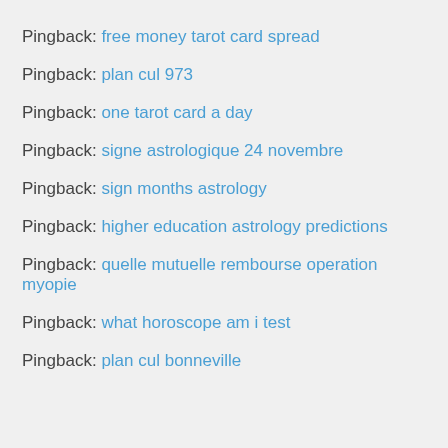Pingback: free money tarot card spread
Pingback: plan cul 973
Pingback: one tarot card a day
Pingback: signe astrologique 24 novembre
Pingback: sign months astrology
Pingback: higher education astrology predictions
Pingback: quelle mutuelle rembourse operation myopie
Pingback: what horoscope am i test
Pingback: plan cul bonneville